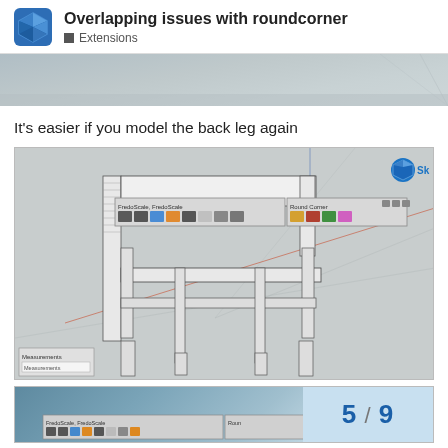Overlapping issues with roundcorner — Extensions
[Figure (screenshot): Partial screenshot of a SketchUp 3D modeling environment showing a chair frame, cropped at top]
It's easier if you model the back leg again
[Figure (screenshot): SketchUp 3D modeling software screenshot showing a wooden chair frame model with toolbar overlays including FredoScale and RoundCorner tools, and a Measurements panel at bottom left]
[Figure (screenshot): Partial screenshot of another SketchUp view with blue/grey background showing page navigation 5/9]